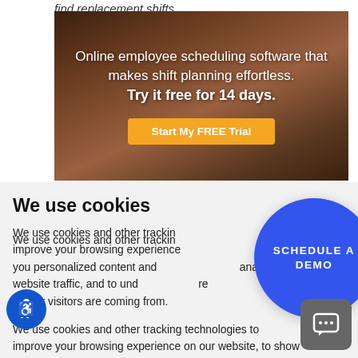find replacement shifts.
[Figure (photo): Hero image with dark background showing a person, overlaid with text about online employee scheduling software and a call-to-action button.]
Online employee scheduling software that makes shift planning effortless. Try it free for 14 days.
We use cookies
We use cookies and other tracking technologies to improve your browsing experience on our website, to show you personalized content and targeted ads, to analyze our website traffic, and to understand where our visitors are coming from.
I agree
Change my preferences
[Figure (other): Blue circle button with text SCHEDULE A DEMO]
[Figure (other): Accessibility icon button (wheelchair symbol) in blue circle]
[Figure (other): Chat button in gray rounded square]